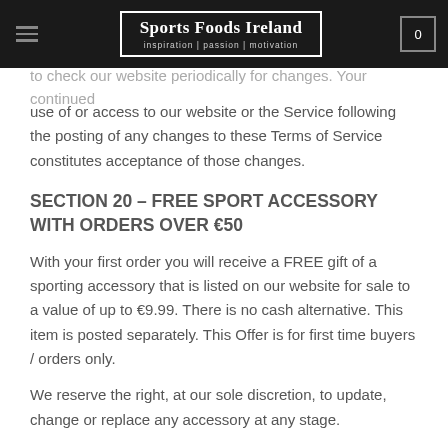Sports Foods Ireland — inspiration | passion | motivation
or replace any … posting … ates and c… … –sponsibili… to check our website periodically for changes. Your continued use of or access to our website or the Service following the posting of any changes to these Terms of Service constitutes acceptance of those changes.
SECTION 20 – FREE SPORT ACCESSORY WITH ORDERS OVER €50
With your first order you will receive a FREE gift of a sporting accessory that is listed on our website for sale to a value of up to €9.99. There is no cash alternative. This item is posted separately. This Offer is for first time buyers / orders only.
We reserve the right, at our sole discretion, to update, change or replace any accessory at any stage.